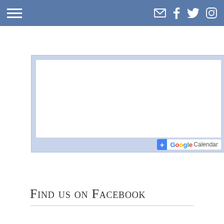Navigation bar with hamburger menu and social icons: email, facebook, twitter, instagram
[Figure (screenshot): Google Calendar embedded widget with light blue background and white calendar area. Google Calendar button visible at bottom right with blue plus icon and Google-colored text.]
Find us on Facebook